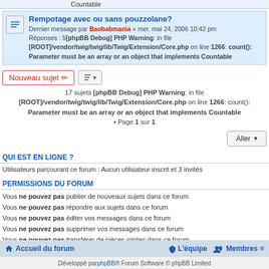Countable
Rempotage avec ou sans pouzzolane?
Dernier message par Baobabmania « mer. mai 24, 2006 10:42 pm
Réponses : 5[phpBB Debug] PHP Warning: in file [ROOT]/vendor/twig/twig/lib/Twig/Extension/Core.php on line 1266: count(): Parameter must be an array or an object that implements Countable
17 sujets [phpBB Debug] PHP Warning: in file [ROOT]/vendor/twig/twig/lib/Twig/Extension/Core.php on line 1266: count(): Parameter must be an array or an object that implements Countable • Page 1 sur 1
QUI EST EN LIGNE ?
Utilisateurs parcourant ce forum : Aucun utilisateur inscrit et 3 invités
PERMISSIONS DU FORUM
Vous ne pouvez pas publier de nouveaux sujets dans ce forum
Vous ne pouvez pas répondre aux sujets dans ce forum
Vous ne pouvez pas éditer vos messages dans ce forum
Vous ne pouvez pas supprimer vos messages dans ce forum
Vous ne pouvez pas transférer de pièces jointes dans ce forum
Accueil du forum    L'équipe   Membres
Développé par phpBB® Forum Software © phpBB Limited